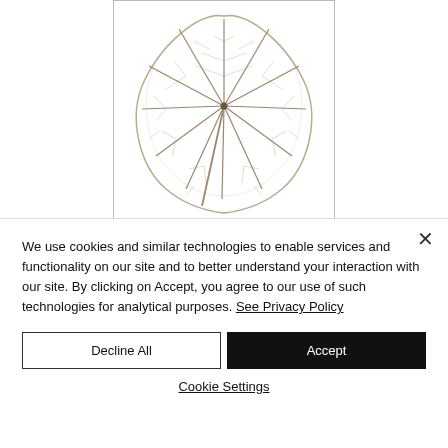[Figure (photo): A skeletal leaf with visible vein structure, displayed in a bordered rectangle against a white background.]
MORE SUCCESS FOR HAY CAMERA CLUB IN THE CWMBRAN JUBILEE
We use cookies and similar technologies to enable services and functionality on our site and to better understand your interaction with our site. By clicking on Accept, you agree to our use of such technologies for analytical purposes. See Privacy Policy
Decline All
Accept
Cookie Settings